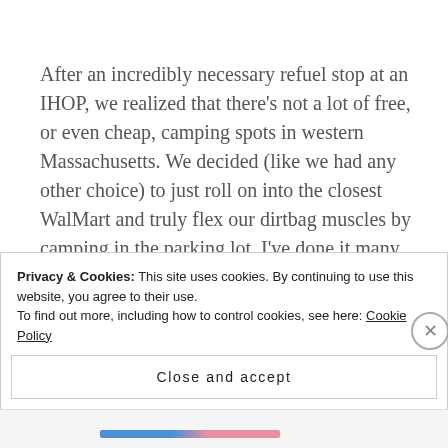After an incredibly necessary refuel stop at an IHOP, we realized that there's not a lot of free, or even cheap, camping spots in western Massachusetts. We decided (like we had any other choice) to just roll on into the closest WalMart and truly flex our dirtbag muscles by camping in the parking lot. I've done it many times, and Colleen has started to build up a solid dirt bagging resume already, but
Privacy & Cookies: This site uses cookies. By continuing to use this website, you agree to their use.
To find out more, including how to control cookies, see here: Cookie Policy
Close and accept